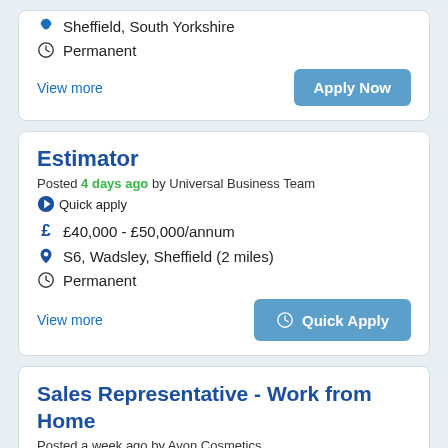Sheffield, South Yorkshire
Permanent
View more
Apply Now
Estimator
Posted 4 days ago by Universal Business Team
Quick apply
£40,000 - £50,000/annum
S6, Wadsley, Sheffield (2 miles)
Permanent
View more
Quick Apply
Sales Representative - Work from Home
Posted a week ago by Avon Cosmetics
Nationwide